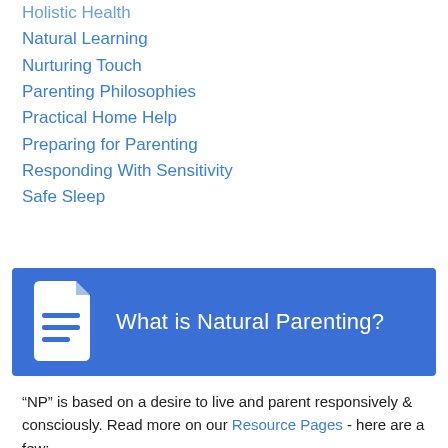Holistic Health
Natural Learning
Nurturing Touch
Parenting Philosophies
Practical Home Help
Preparing for Parenting
Responding With Sensitivity
Safe Sleep
[Figure (infographic): Blue banner with document icon and text: What is Natural Parenting?]
“NP” is based on a desire to live and parent responsively & consciously. Read more on our Resource Pages - here are a few: